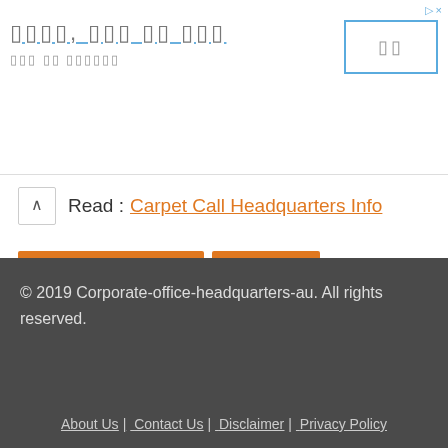[Figure (other): Advertisement banner with Korean-like placeholder text title, subtitle, and a button with placeholder characters]
Also Read : Carpet Call Headquarters Info
CORPORATE HEAD OFFICE
HEAD OFFICE
HEAD QUARTER
« Reject Shop    Jeep »
© 2019 Corporate-office-headquarters-au. All rights reserved.
About Us | Contact Us | Disclaimer | Privacy Policy